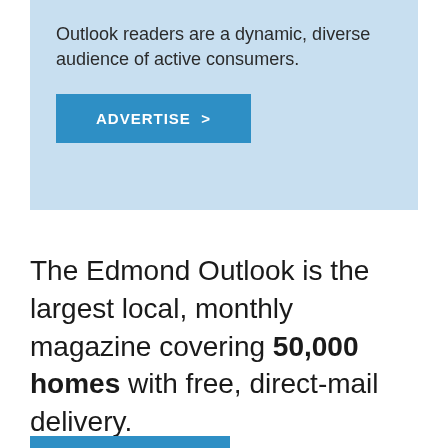Outlook readers are a dynamic, diverse audience of active consumers.
ADVERTISE  >
The Edmond Outlook is the largest local, monthly magazine covering 50,000 homes with free, direct-mail delivery.